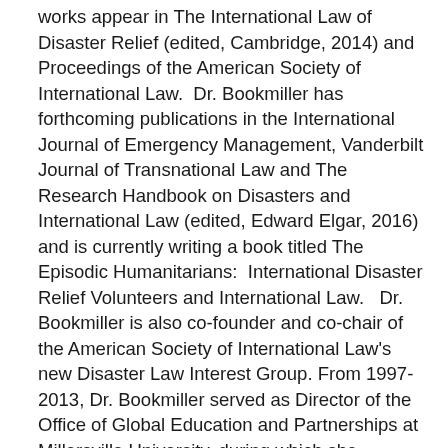works appear in The International Law of Disaster Relief (edited, Cambridge, 2014) and Proceedings of the American Society of International Law.  Dr. Bookmiller has forthcoming publications in the International Journal of Emergency Management, Vanderbilt Journal of Transnational Law and The Research Handbook on Disasters and International Law (edited, Edward Elgar, 2016) and is currently writing a book titled The Episodic Humanitarians:  International Disaster Relief Volunteers and International Law.   Dr. Bookmiller is also co-founder and co-chair of the American Society of International Law's new Disaster Law Interest Group. From 1997-2013, Dr. Bookmiller served as Director of the Office of Global Education and Partnerships at Millersville University, during which she negotiated and concluded 17 partnerships with academic institutions abroad on behalf of the university. She has been an invited visiting or guest lecturer on the subjects of international law and international humanitarian affairs at universities in Australia, Brazil, Chile, Germany, South Africa and Spain.